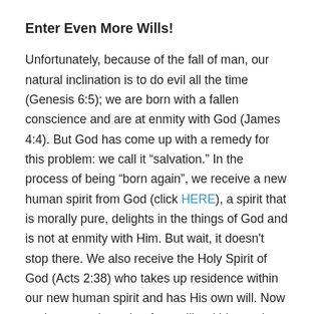Enter Even More Wills!
Unfortunately, because of the fall of man, our natural inclination is to do evil all the time (Genesis 6:5); we are born with a fallen conscience and are at enmity with God (James 4:4). But God has come up with a remedy for this problem: we call it “salvation.” In the process of being “born again”, we receive a new human spirit from God (click HERE), a spirit that is morally pure, delights in the things of God and is not at enmity with Him. But wait, it doesn’t stop there. We also receive the Holy Spirit of God (Acts 2:38) who takes up residence within our new human spirit and has His own will. Now we have not three, but four, wills within us: the supernatural Holy Spirit of God, the supernatural will of our new human spirit, the natural will of the human soul and the natural will of the human